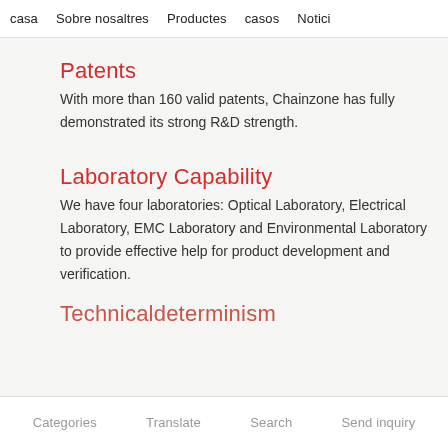casa  Sobre nosaltres  Productes  casos  Notici
Patents
With more than 160 valid patents, Chainzone has fully demonstrated its strong R&D strength.
Laboratory Capability
We have four laboratories: Optical Laboratory, Electrical Laboratory, EMC Laboratory and Environmental Laboratory to provide effective help for product development and verification.
Technicaldeterminism
Categories  Translate  Search  Send inquiry